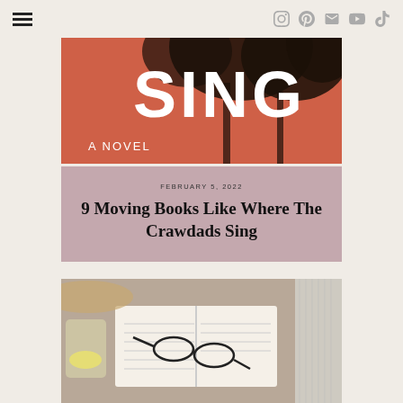Navigation bar with hamburger menu and social icons: Instagram, Pinterest, Email, YouTube, TikTok
[Figure (photo): Book cover of 'Where The Crawdads Sing' — showing text 'SING' and 'A NOVEL' on a salmon/orange background with silhouetted trees]
FEBRUARY 5, 2022
9 Moving Books Like Where The Crawdads Sing
[Figure (photo): Flat-lay photo of an open book with glasses resting on it, a lemon water glass, a wicker hat, and a knitted blanket — cozy reading aesthetic]